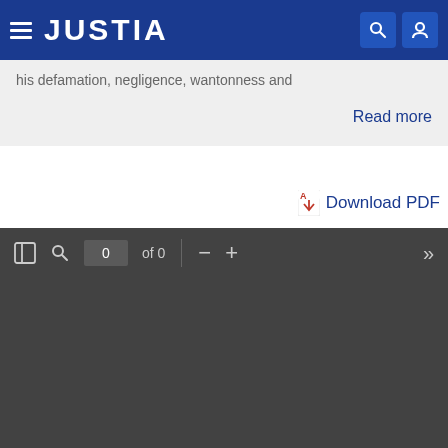JUSTIA
his defamation, negligence, wantonness and
Read more
Download PDF
[Figure (screenshot): PDF viewer toolbar showing page navigation controls: sidebar toggle, search, page number input showing '0 of 0', zoom out (-), zoom in (+), and forward navigation (>>). Below is a dark gray empty PDF viewer area.]